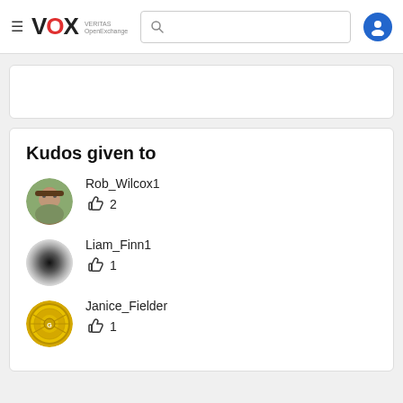VOX VERITAS OpenExchange navigation bar with search
Kudos given to
Rob_Wilcox1  👍 2
Liam_Finn1  👍 1
Janice_Fielder  👍 1